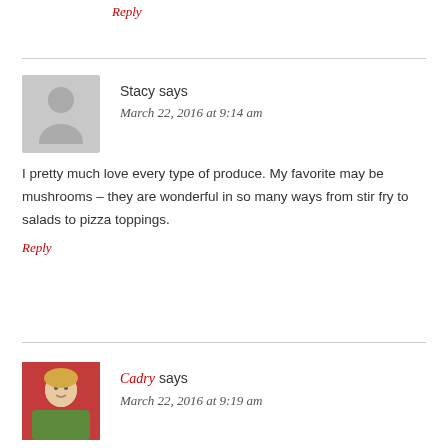Reply
Stacy says
March 22, 2016 at 9:14 am
I pretty much love every type of produce. My favorite may be mushrooms – they are wonderful in so many ways from stir fry to salads to pizza toppings.
Reply
Cadry says
March 22, 2016 at 9:19 am